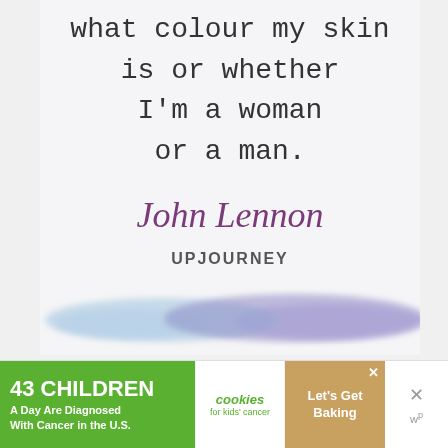what colour my skin is or whether I'm a woman or a man.
John Lennon
UPJOURNEY
[Figure (illustration): Watercolor brush stroke in light blue and purple/lavender colors, horizontal across the bottom of the quote card]
[Figure (infographic): Advertisement banner: '43 CHILDREN A Day Are Diagnosed With Cancer in the U.S.' with cookies for kids cancer logo and 'Let's Get Baking' text]